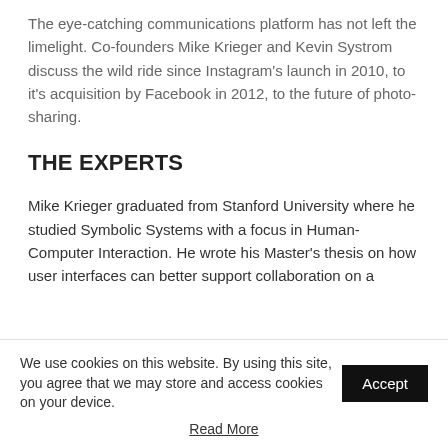The eye-catching communications platform has not left the limelight. Co-founders Mike Krieger and Kevin Systrom discuss the wild ride since Instagram's launch in 2010, to it's acquisition by Facebook in 2012, to the future of photo-sharing.
THE EXPERTS
Mike Krieger graduated from Stanford University where he studied Symbolic Systems with a focus in Human-Computer Interaction. He wrote his Master's thesis on how user interfaces can better support collaboration on a
We use cookies on this website. By using this site, you agree that we may store and access cookies on your device.
Read More